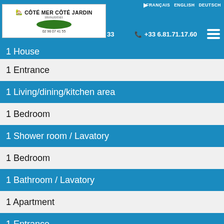Côté Mer Côté Jardin Immobilier — FRANÇAIS ENGLISH DEUTSCH — +33 6.81.71.17.60
1 House (partial)
1 Entrance
1 Living/dining/kitchen area
1 Bedroom
1 Shower room / Lavatory
1 Bedroom
1 Bathroom / Lavatory
1 Apartment
1 Entrance
1 Bathroom
1 Lavatory